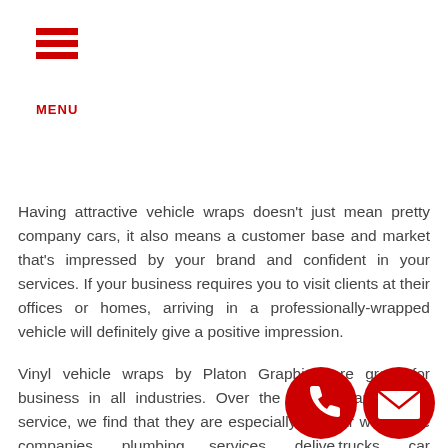MENU
Having attractive vehicle wraps doesn't just mean pretty company cars, it also means a customer base and market that's impressed by your brand and confident in your services. If your business requires you to visit clients at their offices or homes, arriving in a professionally-wrapped vehicle will definitely give a positive impression.
Vinyl vehicle wraps by Platon Graphics are great for business in all industries. Over the many years of our service, we find that they are especially popular with cable companies, plumbing services, delivery trucks, car dealerships, electricians, and exterminators. No matter what your business is, Platon Graphics is here to be your
[Figure (illustration): Red phone icon (call button) and red email envelope icon at bottom right of page]